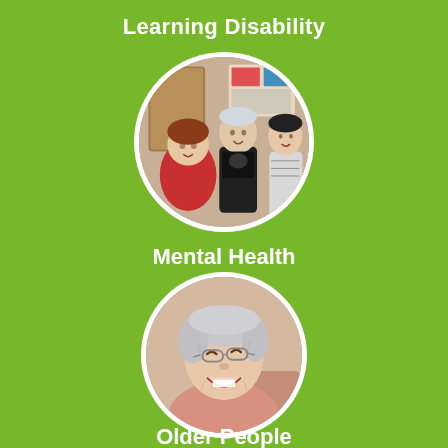Learning Disability
[Figure (photo): A circular photo of three people in an indoor setting; one person holds up a black t-shirt with a logo, another wears a red jacket, a third smiles in the background with posters visible.]
Mental Health
[Figure (photo): A circular photo of an elderly woman with short grey hair and glasses, smiling and laughing, facing slightly upward.]
Older People